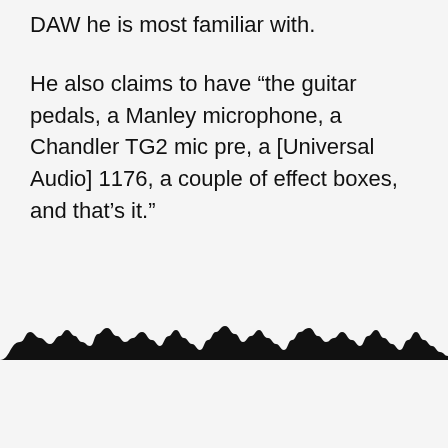DAW he is most familiar with.
He also claims to have “the guitar pedals, a Manley microphone, a Chandler TG2 mic pre, a [Universal Audio] 1176, a couple of effect boxes, and that’s it.”
[Figure (other): Decorative wavy waveform graphic at the bottom of the page, black silhouette of audio waveform peaks]